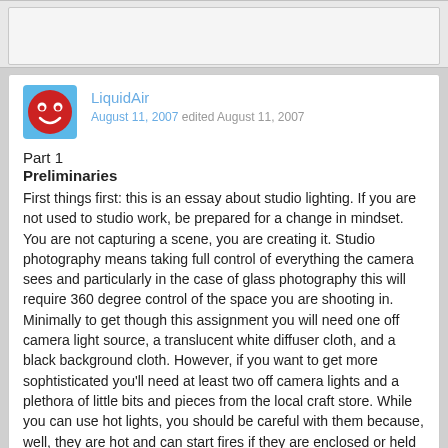[Figure (other): Top bar with light gray background, partially visible input or content area]
LiquidAir
August 11, 2007 edited August 11, 2007
Part 1
Preliminaries
First things first: this is an essay about studio lighting. If you are not used to studio work, be prepared for a change in mindset. You are not capturing a scene, you are creating it. Studio photography means taking full control of everything the camera sees and particularly in the case of glass photography this will require 360 degree control of the space you are shooting in. Minimally to get though this assignment you will need one off camera light source, a translucent white diffuser cloth, and a black background cloth. However, if you want to get more sophtisticated you'll need at least two off camera lights and a plethora of little bits and pieces from the local craft store. While you can use hot lights, you should be careful with them because, well, they are hot and can start fires if they are enclosed or held too close to something flammable (like a